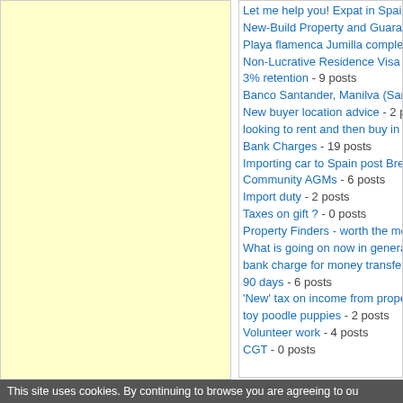Let me help you! Expat in Spain (A...
New-Build Property and Guarantee...
Playa flamenca Jumilla complex - ...
Non-Lucrative Residence Visa - 20...
3% retention - 9 posts
Banco Santander, Manilva (San lu...
New buyer location advice - 2 posts
looking to rent and then buy in Cha...
Bank Charges - 19 posts
Importing car to Spain post Brexit - ...
Community AGMs - 6 posts
Import duty - 2 posts
Taxes on gift ? - 0 posts
Property Finders - worth the mone...
What is going on now in general in...
bank charge for money transfer - 4...
90 days - 6 posts
'New' tax on income from property...
toy poodle puppies - 2 posts
Volunteer work - 4 posts
CGT - 0 posts
Number of posts in this thread: 2
DISCLAIMER:  All opinions posted o... the opinion of Eye on Spain, its serva...
This site uses cookies. By continuing to browse you are agreeing to ou...